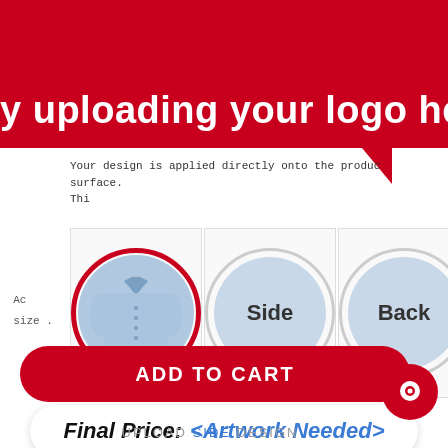by uploading your logo here
Your design is applied directly onto the product surface. Thi...
Ac... size ...
[Figure (photo): Three circular views of a blue dress shirt: Front (selected, red border), Side, and Back]
Final Price: <Artwork Needed>
ADD TO CART
UPLOAD SIDE DESIGN